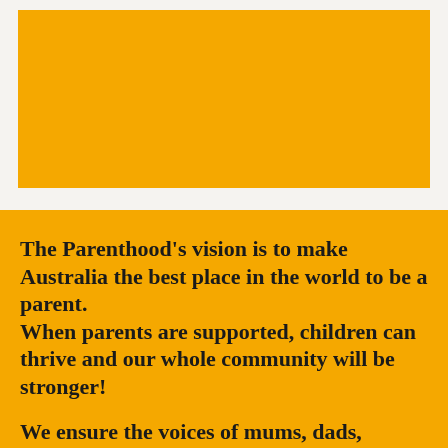[Figure (illustration): A large yellow/amber rectangular block serving as a decorative image placeholder at the top of the page]
The Parenthood's vision is to make Australia the best place in the world to be a parent.
When parents are supported, children can thrive and our whole community will be stronger!
We ensure the voices of mums, dads, grandparents and carers are